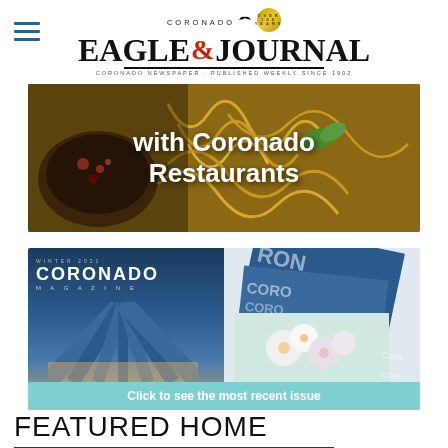[Figure (logo): Coronado Eagle & Journal newspaper logo with bird icon, gold badge reading 'Over 100 Years', large serif masthead text, and tagline 'Coronado Newspaper - Published Weekly Since 1902']
[Figure (photo): Banner image showing food (pasta/noodles and spices) with white bold text overlay reading 'with Coronado Restaurants']
[Figure (photo): Coronado Magazine promotional banner showing collage of magazine covers with bridge photo on left and stacked magazine covers on right, with teal bar at bottom reading 'Click to see the most recent issue']
FEATURED HOME